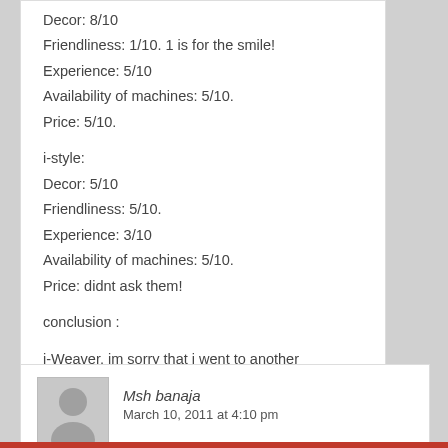Decor: 8/10
Friendliness: 1/10. 1 is for the smile!
Experience: 5/10
Availability of machines: 5/10.
Price: 5/10.

i-style:
Decor: 5/10
Friendliness: 5/10.
Experience: 3/10
Availability of machines: 5/10.
Price: didnt ask them!

conclusion :

i-Weaver, im sorry that i went to another stores, you guys ROCK!
[Figure (illustration): Grey avatar placeholder image of a person silhouette]
Msh banaja
March 10, 2011 at 4:10 pm
my personal experience Â , Â i have tried itechia and izone and defiantly im going to choose izone